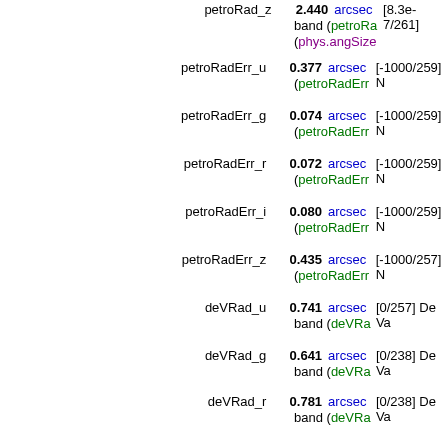| Field | Value | Unit | Description |
| --- | --- | --- | --- |
| petroRad_z | 2.440 | arcsec | [8.3e-7/261] band (petroRa... (phys.angSize... |
| petroRadErr_u | 0.377 | arcsec | [-1000/259] N (petroRadErr... |
| petroRadErr_g | 0.074 | arcsec | [-1000/259] N (petroRadErr... |
| petroRadErr_r | 0.072 | arcsec | [-1000/259] N (petroRadErr... |
| petroRadErr_i | 0.080 | arcsec | [-1000/259] N (petroRadErr... |
| petroRadErr_z | 0.435 | arcsec | [-1000/257] N (petroRadErr... |
| deVRad_u | 0.741 | arcsec | [0/257] De Va band (deVRa... |
| deVRad_g | 0.641 | arcsec | [0/238] De Va band (deVRa... |
| deVRad_r | 0.781 | arcsec | [0/238] De Va band (deVRa... |
| deVRad_i | 0.717 | arcsec | [0/232] De Va band (deVRa... |
| deVRad_z | 0.707 | arcsec | [0/238] De Va band (deVRa... |